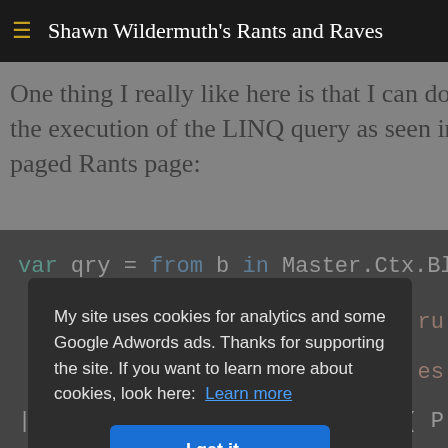Shawn Wildermuth's Rants and Raves
One thing I really like here is that I can do the paging d the execution of the LINQ query as seen in the LINQ q paged Rants page:
[Figure (screenshot): Dark-themed code editor showing a LINQ query: var qry = from b in Master.Ctx.Blo...]
My site uses cookies for analytics and some Google Adwords ads. Thanks for supporting the site. If you want to learn more about cookies, look here: Learn more
I get it...